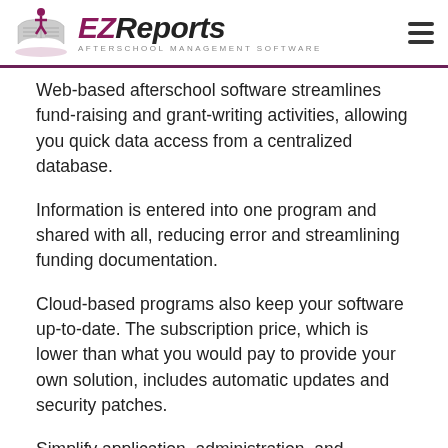EZReports — Afterschool Management Software
Web-based afterschool software streamlines fund-raising and grant-writing activities, allowing you quick data access from a centralized database.
Information is entered into one program and shared with all, reducing error and streamlining funding documentation.
Cloud-based programs also keep your software up-to-date. The subscription price, which is lower than what you would pay to provide your own solution, includes automatic updates and security patches.
Simplify application, administration, and reporting for your grant-funded afterschool program with